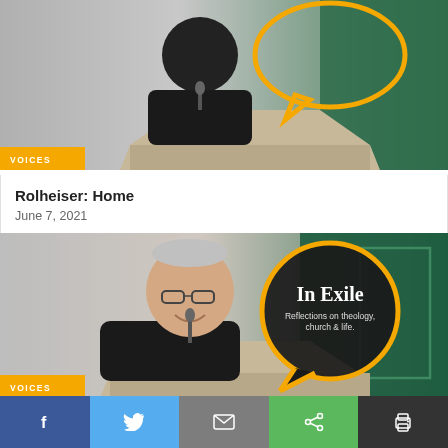[Figure (photo): Person in black jacket speaking at a podium/lectern, with an orange speech bubble graphic overlay. Green curtains visible in background.]
Rolheiser: Home
June 7, 2021
[Figure (photo): Older man in black jacket smiling at a podium/lectern, with a circular speech bubble graphic reading 'In Exile – Reflections on theology, church & life'. Green curtains and teal wall visible in background.]
Rolheiser: Losing the song in the singer
f  (Twitter bird)  (envelope)  (share)  (printer)